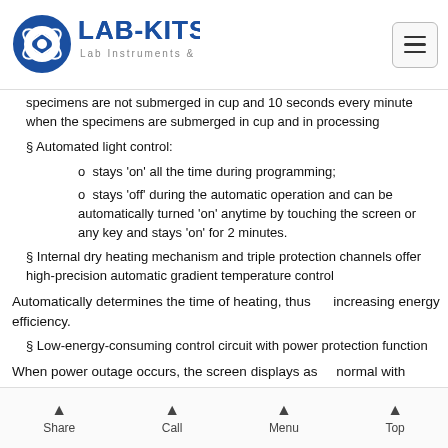LAB-KITS Lab Instruments & facility
specimens are not submerged in cup and 10 seconds every minute when the specimens are submerged in cup and in processing
§ Automated light control:
o  stays 'on' all the time during programming;
o  stays 'off' during the automatic operation and can be automatically turned 'on' anytime by touching the screen or any key and stays 'on' for 2 minutes.
§ Internal dry heating mechanism and triple protection channels offer high-precision automatic gradient temperature control
Automatically determines the time of heating, thus      increasing energy efficiency.
§ Low-energy-consuming control circuit with power protection function
When power outage occurs, the screen displays as      normal with
Share   Call   Menu   Top